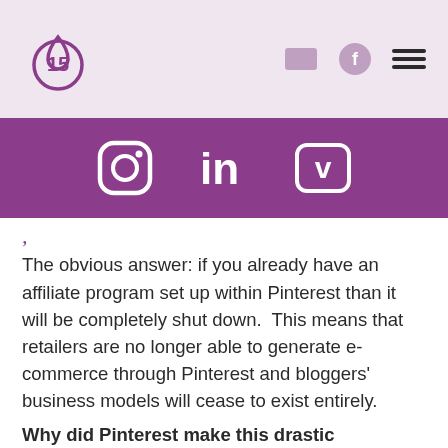15 [logo with social icons]
[Figure (illustration): Purple bar with Instagram, LinkedIn, and Vimeo icons in white]
The obvious answer: if you already have an affiliate program set up within Pinterest than it will be completely shut down.  This means that retailers are no longer able to generate e-commerce through Pinterest and bloggers' business models will cease to exist entirely.
Why did Pinterest make this drastic decision?
According to Digiday, “Pinterest is trying to